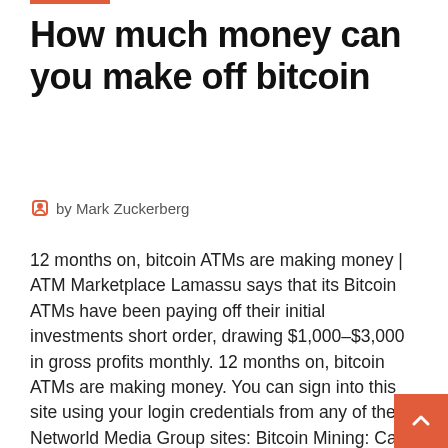How much money can you make off bitcoin
by Mark Zuckerberg
12 months on, bitcoin ATMs are making money | ATM Marketplace Lamassu says that its Bitcoin ATMs have been paying off their initial investments short order, drawing $1,000–$3,000 in gross profits monthly. 12 months on, bitcoin ATMs are making money. You can sign into this site using your login credentials from any of these Networld Media Group sites: Bitcoin Mining: Can You Really Make Money Doing it? Can You Really Make Money Mining Bitcoin With Your Gaming PC? Mar 11, 2018 · How Much Money Can You Actually Make? Remember, while NiceHash does show your earnings as USD, they're actually paying you in Bitcoin. Note that there are service and withdrawal fees for getting the Bitcoin out of the NiceHash miner into the NiceHash wallet or an external Bitcoin wallet. It will also get a little more complicated for off-site...